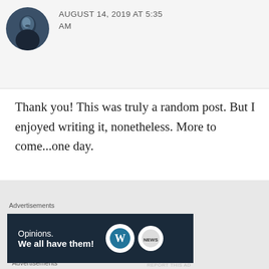[Figure (photo): Profile avatar photo of a person with a blue tinted circular crop]
AUGUST 14, 2019 AT 5:35 AM
Thank you! This was truly a random post. But I enjoyed writing it, nonetheless. More to come...one day.
★ Liked by 1 person
REPLY
Advertisements
[Figure (screenshot): Red advertisement banner for Pocket Casts app: 'An app by listeners, for listeners.' with Distributed book cover and Pocket Casts logo]
Advertisements
[Figure (screenshot): Dark blue WordPress advertisement: 'Opinions. We all have them!' with WordPress and Daily News logos]